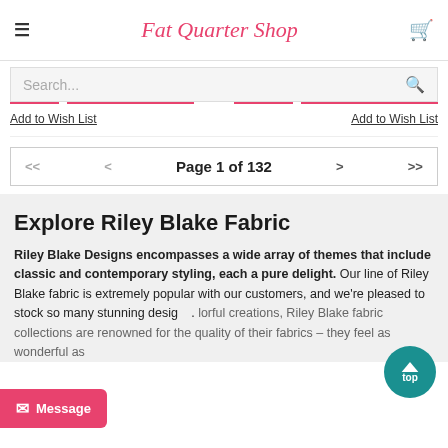Fat Quarter Shop
Search...
Add to Wish List   Add to Wish List
Page 1 of 132
Explore Riley Blake Fabric
Riley Blake Designs encompasses a wide array of themes that include classic and contemporary styling, each a pure delight. Our line of Riley Blake fabric is extremely popular with our customers, and we're pleased to stock so many stunning designs. For colorful creations, Riley Blake fabric collections are renowned for the quality of their fabrics – they feel as wonderful as